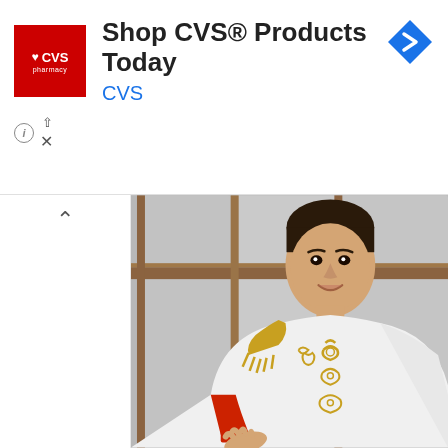[Figure (screenshot): CVS Pharmacy advertisement banner with red CVS logo, text 'Shop CVS® Products Today' and 'CVS' in blue, blue diamond arrow navigation icon on right, and info/close controls below]
[Figure (photo): Photo of a young man in a white military-style costume jacket with gold epaulettes and red collar/cuffs, smiling at camera, with gray upholstered background panels and wood trim visible behind him]